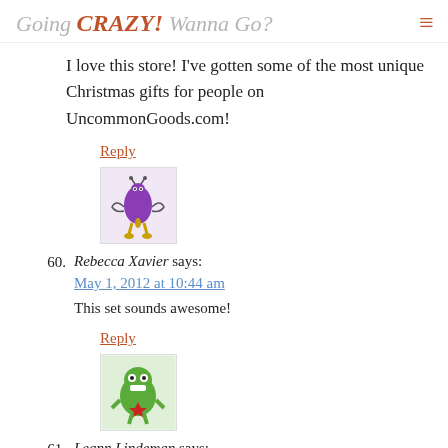Going CRAZY! Wanna Go?
I love this store! I've gotten some of the most unique Christmas gifts for people on UncommonGoods.com!
Reply
[Figure (illustration): Avatar image of a purple oval creature with decorative arms on a light background]
60. Rebecca Xavier says: May 1, 2012 at 10:44 am — This set sounds awesome!
Reply
[Figure (illustration): Avatar image of a green monster character with red star on a pink/light green background]
61. Leann Lindeman says: May 1, 2012 at 10:44 am — Fun little package of stuff! Uncommon Goods has lots of cool stuff... I enter all the giveaways I see to